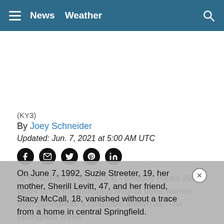≡  News  Weather  🔍
(KY3)
By Joey Schneider
Updated: Jun. 7, 2021 at 5:00 AM UTC
[Figure (infographic): Social share icons: Facebook, Email, Twitter, Pinterest, LinkedIn]
SPRINGFIELD, Mo. (KY3) - Monday marks 29 years since the disappearance of three women from Springfield, a cold case known as “The Springfield Three.”
On June 7, 1992, Suzie Streeter, 19, her mother, Sherill Levitt, 47, and her friend, Stacy McCall, 18, vanished without a trace from a home in central Springfield.